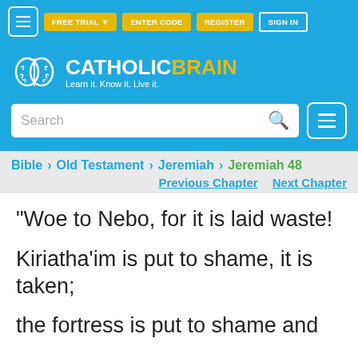FREE TRIAL | ENTER CODE | REGISTER | SIGN IN
[Figure (logo): CatholicBrain logo with brain icon and tagline: Learn it. Know it. Live it.]
Search
Bible > Old Testament > Jeremiah > Jeremiah 48
Previous Chapter   Next Chapter
"Woe to Nebo, for it is laid waste!
Kiriatha'im is put to shame, it is taken;
the fortress is put to shame and